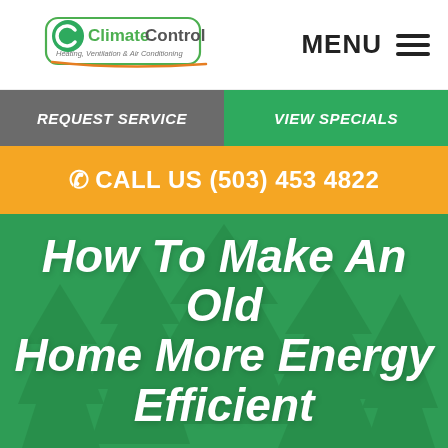[Figure (logo): ClimateControl Heating, Ventilation & Air Conditioning logo with green circular C icon]
MENU ☰
REQUEST SERVICE
VIEW SPECIALS
✆ CALL US (503) 453 4822
How To Make An Old Home More Energy Efficient